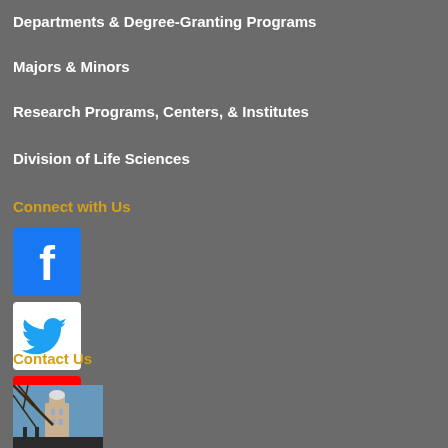Departments & Degree-Granting Programs
Majors & Minors
Research Programs, Centers, & Institutes
Division of Life Sciences
Connect with Us
[Figure (logo): Facebook logo icon - blue background with white 'f']
[Figure (logo): Twitter logo icon - white background with blue bird]
[Figure (logo): YouTube logo icon - red background with white play button]
Contact Us
[Figure (photo): Outdoor photo of a building with a tower/dome, viewed through tree branches]